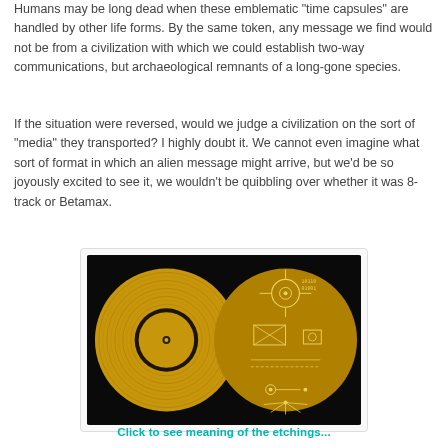Humans may be long dead when these emblematic "time capsules" are handled by other life forms. By the same token, any message we find would not be from a civilization with which we could establish two-way communications, but archaeological remnants of a long-gone species.
If the situation were reversed, would we judge a civilization on the sort of "media" they transported? I highly doubt it. We cannot even imagine what sort of format in which an alien message might arrive, but we'd be so joyously excited to see it, we wouldn't be quibbling over whether it was 8-track or Betamax.
[Figure (photo): Two golden discs — the Voyager Golden Record: on the left, the gold phonograph record face showing grooves and a central label; on the right, the cover/case with etched diagrams and instructions.]
Click to see meaning of the etchings...